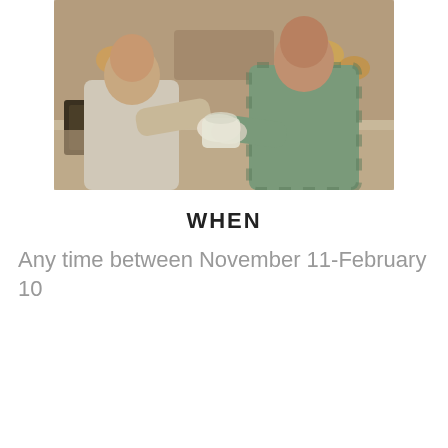[Figure (photo): Two people at a market or store counter exchanging a bag of produce, with baked goods visible in the background.]
WHEN
Any time between November 11-February 10